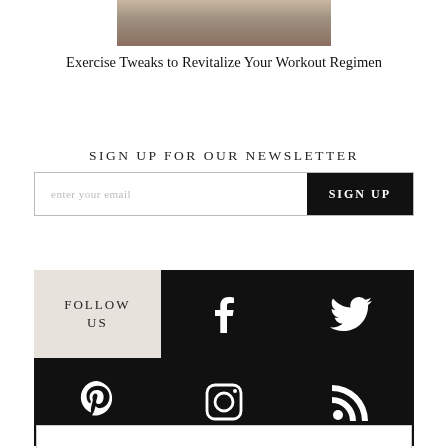[Figure (photo): Partial photo of a person outdoors, cropped at the top of the page]
Exercise Tweaks to Revitalize Your Workout Regimen
SIGN UP FOR OUR NEWSLETTER
[Figure (infographic): Email signup form with text input field showing 'enter your email' and a black SIGN UP button]
[Figure (infographic): Social media follow grid with FOLLOW US label and icons for Facebook, Twitter, Pinterest, Instagram, and RSS]
[Figure (other): Bottom white box with border, partially visible at bottom of page]